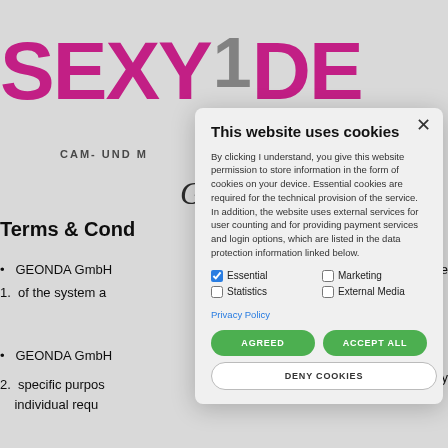[Figure (screenshot): Background of a website with pink and grey large logo text 'SEXY1.DE', subtitle 'CAM- UND M...', partial page content showing 'Terms & Cond...' heading, bullet points with 'GEONDA GmbH...' text, and list items partially visible.]
This website uses cookies
By clicking I understand, you give this website permission to store information in the form of cookies on your device. Essential cookies are required for the technical provision of the service. In addition, the website uses external services for user counting and for providing payment services and login options, which are listed in the data protection information linked below.
Essential (checked)
Marketing (unchecked)
Statistics (unchecked)
External Media (unchecked)
Privacy Policy
AGREED
ACCEPT ALL
DENY COOKIES